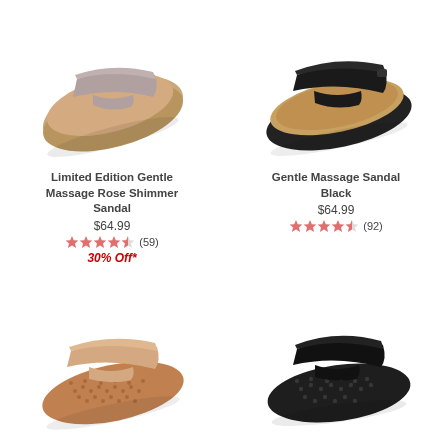[Figure (photo): Limited Edition Gentle Massage Rose Shimmer Sandal - slide sandal with taupe/gray strap on tan sole, viewed from above at angle]
Limited Edition Gentle Massage Rose Shimmer Sandal
$64.99
★★★★½ (59)
30% Off*
[Figure (photo): Gentle Massage Sandal Black - slide sandal with black leather strap on tan/cork-style sole with black outsole, viewed from above at angle]
Gentle Massage Sandal Black
$64.99
★★★★½ (92)
[Figure (photo): Massage sandal in tan/nude color with textured massaging nub footbed, single strap, viewed from above at angle]
[Figure (photo): Massage sandal in black with textured massaging nub footbed, single black strap, viewed from above at angle]